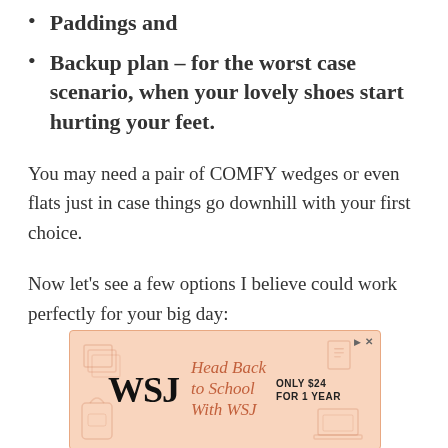Paddings and
Backup plan – for the worst case scenario, when your lovely shoes start hurting your feet.
You may need a pair of COMFY wedges or even flats just in case things go downhill with your first choice.
Now let's see a few options I believe could work perfectly for your big day:
[Figure (other): Advertisement banner for WSJ (Wall Street Journal). Peach/salmon background with school-related icons. WSJ logo in bold black. Text reads 'Head Back to School With WSJ'. Sub-text: 'ONLY $24 FOR 1 YEAR'.]